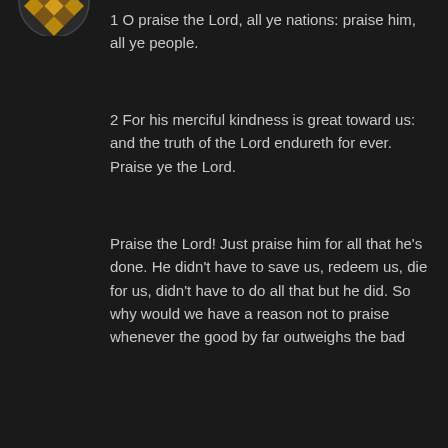[Figure (illustration): Partial circular avatar with gold/yellow geometric pattern on dark background, cropped at top]
1 O praise the Lord, all ye nations: praise him, all ye people.
2 For his merciful kindness is great toward us: and the truth of the Lord endureth for ever. Praise ye the Lord.
Praise the Lord! Just praise him for all that he's done. He didn't have to save us, redeem us, die for us, didn't have to do all that but he did. So why would we have a reason not to praise whenever the good by far outweighs the bad
Reply
[Figure (illustration): Circular avatar with gold/yellow geometric quilt-like pattern on dark background]
Wayne Moore   July 30, 2014 at 9:09 am
Psalms 117:1
1 O praise the Lord, all ye nations: praise him, all ye